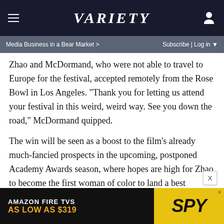VARIETY
Media Business in a Bear Market >    Subscribe | Log in
Zhao and McDormand, who were not able to travel to Europe for the festival, accepted remotely from the Rose Bowl in Los Angeles. “Thank you for letting us attend your festival in this weird, weird way. See you down the road,” McDormand quipped.
The win will be seen as a boost to the film’s already much-fancied prospects in the upcoming, postponed Academy Awards season, where hopes are high for Zhao to become the first woman of color to land a best director nomination. Searchlight’s 2017 release “The Shape of Water” also won the Golden Lion en route to its Oscar triumph, while the last two Venice victors, “Roma” and “Joker,” also landed in the best picture race. Searchlight will release the film on Dec. 4.
[Figure (screenshot): Amazon Fire TVs advertisement banner: 'AMAZON FIRE TVS AS LOW AS $319' with SPY logo]